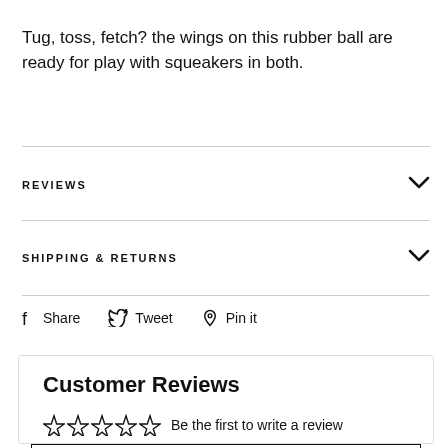Tug, toss, fetch? the wings on this rubber ball are ready for play with squeakers in both.
REVIEWS
SHIPPING & RETURNS
Share  Tweet  Pin it
Customer Reviews
☆☆☆☆☆  Be the first to write a review
Write a review